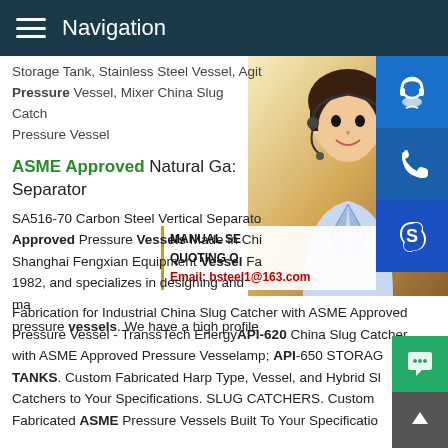Navigation
Storage Tank, Stainless Steel Vessel, Agit Pressure Vessel, Mixer China Slug Catch Pressure Vessel
ASME Approved Natural Gas Separator
SA516-70 Carbon Steel Vertical Separator ASME Approved Pressure Vessels Made in China – Shanghai Fengxian Equipment Vessel Fabrication since 1982, and specializes in designing and manufacturing pressure vessels. We have a high profile Fabrication for Industrial China Slug Catcher with ASME Approved Pressure Vessel - TransTech EnergyAPI-620 China Slug Catcher with ASME Approved Pressure Vesselamp; API-650 STORAGE TANKS. Custom Fabricated Harp Type, Vessel, and Hybrid Slug Catchers to Your Specifications. SLUG CATCHERS. Custom Fabricated ASME Pressure Vessels Built To Your Specifications.
[Figure (photo): Woman with headset customer service representative]
[Figure (screenshot): MANUAL SERVICE and QUOTING ON overlay with Email: bsteel1@163.com]